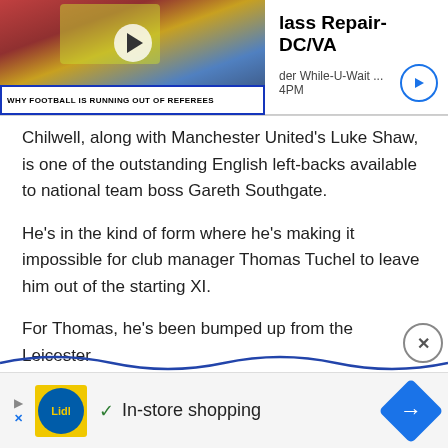[Figure (screenshot): Video thumbnail of a football referee with yellow vest raising his arm, with overlay title 'Why Football Is Running Out Of Referees']
[Figure (screenshot): Advertisement panel showing 'Glass Repair- DC/VA' with subtext 'der While-U-Wait ...' and arrow button]
Chilwell, along with Manchester United's Luke Shaw, is one of the outstanding English left-backs available to national team boss Gareth Southgate.
He's in the kind of form where he's making it impossible for club manager Thomas Tuchel to leave him out of the starting XI.
For Thomas, he's been bumped up from the Leicester
[Figure (screenshot): Bottom advertisement banner: Lidl store ad with 'In-store shopping' text and navigation arrow icon]